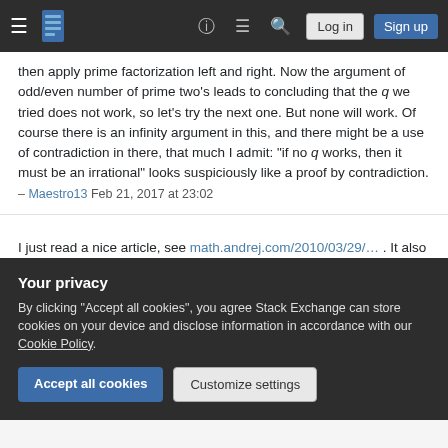Stack Exchange navigation bar with Log in and Sign up buttons
then apply prime factorization left and right. Now the argument of odd/even number of prime two's leads to concluding that the q we tried does not work, so let's try the next one. But none will work. Of course there is an infinity argument in this, and there might be a use of contradiction in there, that much I admit: "if no q works, then it must be an irrational" looks suspiciously like a proof by contradiction. – Maestro13 Feb 21, 2017 at 23:02
I just read a nice article, see math.andrej.com/2010/03/29/... . It also relates to the remark of Elaqqad above. The point is we have to prove negation but that is not the same as supplying a proof by contradiction. – Maestro13 Feb 22, 2017 at 0:04
Your privacy
By clicking "Accept all cookies", you agree Stack Exchange can store cookies on your device and disclose information in accordance with our Cookie Policy.
Accept all cookies | Customize settings